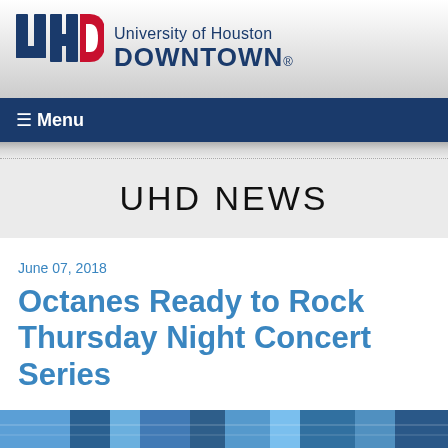[Figure (logo): University of Houston Downtown (UHD) logo with red and navy blue lettering and stylized UHD icon]
≡ Menu
UHD NEWS
June 07, 2018
Octanes Ready to Rock Thursday Night Concert Series
[Figure (photo): Partial view of a concert or event scene at the bottom of the page]